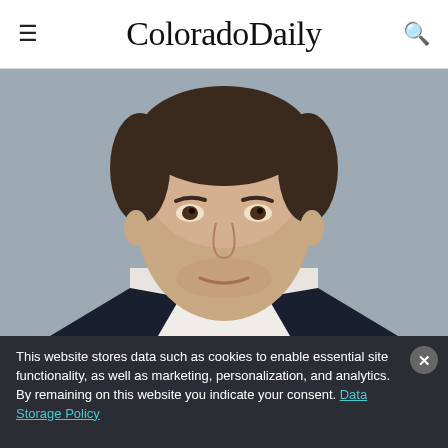ColoradoDaily
[Figure (photo): Headshot of a man in a dark suit and white collared shirt, smiling slightly, against a grey background]
This website stores data such as cookies to enable essential site functionality, as well as marketing, personalization, and analytics. By remaining on this website you indicate your consent. Data Storage Policy